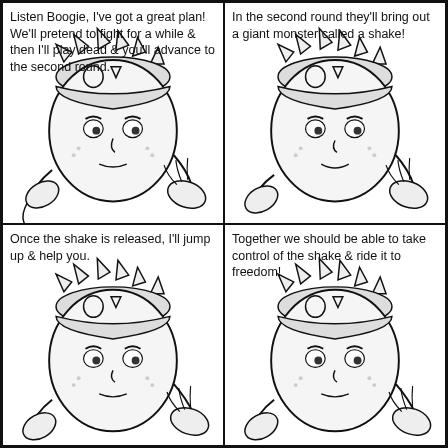[Figure (illustration): Comic strip panel 1: Character with spiky hat speaking: 'Listen Boogie, I've got a great plan! We'll pretend to fight for a while & then I'll play dead & you'll advance to the second round.']
[Figure (illustration): Comic strip panel 2: Character with spiky hat speaking: 'In the second round they'll bring out a giant monster called a shake!']
[Figure (illustration): Comic strip panel 3: Character with spiky hat speaking: 'Once the shake is released, I'll jump up & help you.']
[Figure (illustration): Comic strip panel 4: Character with spiky hat speaking: 'Together we should be able to take control of the shake & ride it to freedom!']